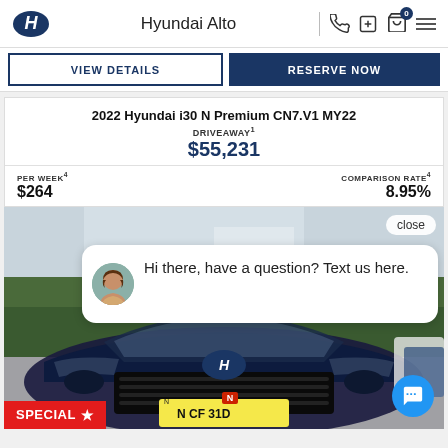Hyundai Alto
VIEW DETAILS
RESERVE NOW
2022 Hyundai i30 N Premium CN7.V1 MY22
DRIVEAWAY¹ $55,231
PER WEEK⁴ $264
COMPARISON RATE⁴ 8.95%
[Figure (photo): Photo of a dark blue 2022 Hyundai i30 N Premium with NSW number plate N CF 31D, taken at a dealership. A chat bubble overlay reads 'Hi there, have a question? Text us here.' with an avatar of a woman. A SPECIAL badge is in the bottom left corner.]